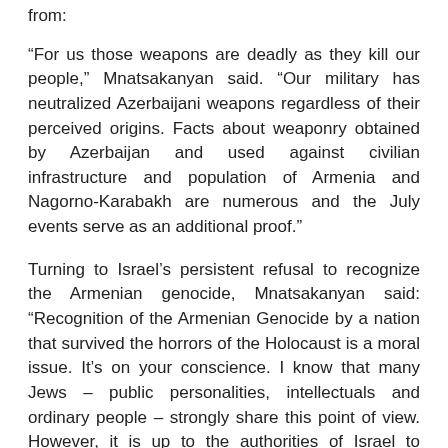from:
“For us those weapons are deadly as they kill our people,” Mnatsakanyan said. “Our military has neutralized Azerbaijani weapons regardless of their perceived origins. Facts about weaponry obtained by Azerbaijan and used against civilian infrastructure and population of Armenia and Nagorno-Karabakh are numerous and the July events serve as an additional proof.”
Turning to Israel’s persistent refusal to recognize the Armenian genocide, Mnatsakanyan said: “Recognition of the Armenian Genocide by a nation that survived the horrors of the Holocaust is a moral issue. It’s on your conscience. I know that many Jews – public personalities, intellectuals and ordinary people – strongly share this point of view. However, it is up to the authorities of Israel to recognize the Armenian Genocide or refrain from doing it. It’s not only about Armenia but Israel as well.”